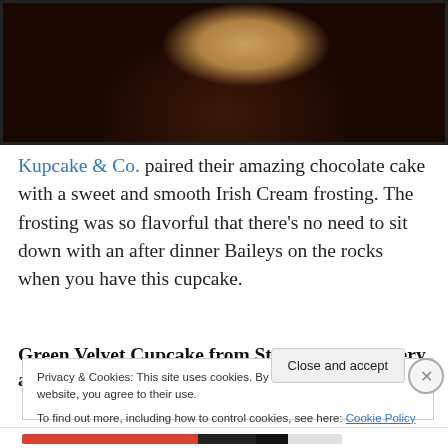[Figure (photo): Close-up photo of a chocolate cupcake with cream/vanilla frosting on top, viewed from above at an angle, on a white plate with floral pattern. Dark chocolate cake texture visible.]
Kupcake & Co. paired their amazing chocolate cake with a sweet and smooth Irish Cream frosting. The frosting was so flavorful that there's no need to sit down with an after dinner Baileys on the rocks when you have this cupcake.
Green Velvet Cupcake from Starry Night Bakery and
Privacy & Cookies: This site uses cookies. By continuing to use this website, you agree to their use.
To find out more, including how to control cookies, see here: Cookie Policy
Close and accept